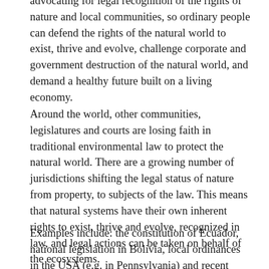advocating for legal recognition of the rights of nature and local communities, so ordinary people can defend the rights of the natural world to exist, thrive and evolve, challenge corporate and government destruction of the natural world, and demand a healthy future built on a living economy.
Around the world, other communities, legislatures and courts are losing faith in traditional environmental law to protect the natural world. There are a growing number of jurisdictions shifting the legal status of nature from property, to subjects of the law. This means that natural systems have their own inherent rights to exist, thrive and evolve, recognized in law, and legal actions can be taken on behalf of the ecosystems.
Examples include: the constitution of Ecuador, national legislation in Bolivia, local ordinances in the USA (e.g. in Pennsylvania) and recent court decisions in India which recognise the legal rights of nature and ecosystems.